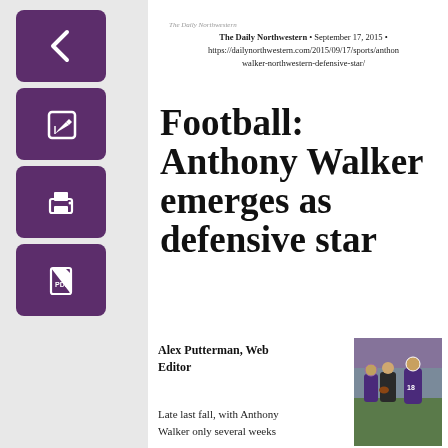The Daily Northwestern • September 17, 2015 • https://dailynorthwestern.com/2015/09/17/sports/anthonwalker-northwestern-defensive-star/
Football: Anthony Walker emerges as defensive star
Alex Putterman, Web Editor
Late last fall, with Anthony Walker only several weeks
[Figure (photo): Football players in purple Northwestern uniforms on the field, including player #18]